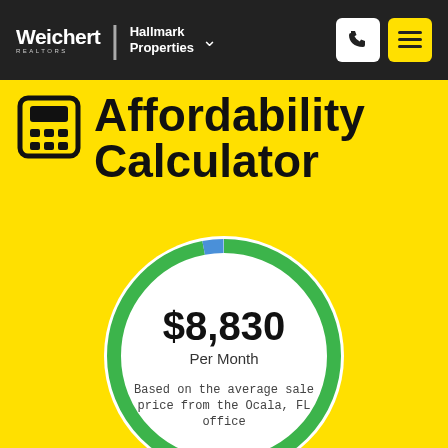Weichert REALTORS | Hallmark Properties
Affordability Calculator
[Figure (donut-chart): Donut chart showing $8,830 Per Month based on the average sale price from the Ocala, FL office. Large green arc with small blue segment at top.]